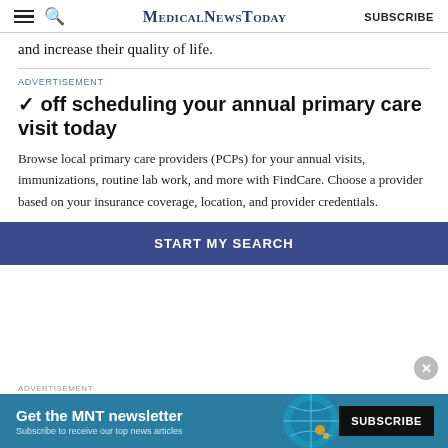MedicalNewsToday SUBSCRIBE
and increase their quality of life.
ADVERTISEMENT
✔ off scheduling your annual primary care visit today
Browse local primary care providers (PCPs) for your annual visits, immunizations, routine lab work, and more with FindCare. Choose a provider based on your insurance coverage, location, and provider credentials.
START MY SEARCH
ADVERTISEMENT
Get the MNT newsletter Subscribe to receive our top news articles SUBSCRIBE